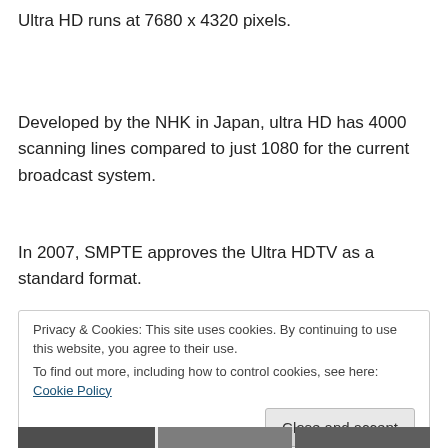Ultra HD runs at 7680 x 4320 pixels.
Developed by the NHK in Japan, ultra HD has 4000 scanning lines compared to just 1080 for the current broadcast system.
In 2007, SMPTE approves the Ultra HDTV as a standard format.
Privacy & Cookies: This site uses cookies. By continuing to use this website, you agree to their use.
To find out more, including how to control cookies, see here: Cookie Policy
[Close and accept]
[Figure (photo): Partial photo strip at the bottom of the page showing people or subjects, cropped.]